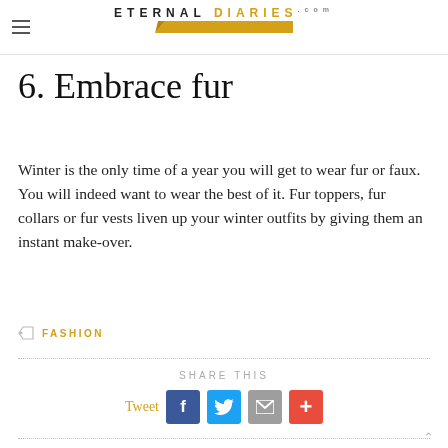ETERNAL DIARIES .com
6. Embrace fur
Winter is the only time of a year you will get to wear fur or faux. You will indeed want to wear the best of it. Fur toppers, fur collars or fur vests liven up your winter outfits by giving them an instant make-over.
FASHION
SHARE THIS
Tweet